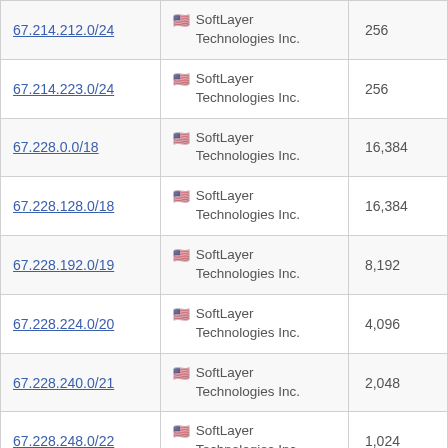| IP Range | Organization | Count |
| --- | --- | --- |
| 67.214.212.0/24 | SoftLayer Technologies Inc. | 256 |
| 67.214.223.0/24 | SoftLayer Technologies Inc. | 256 |
| 67.228.0.0/18 | SoftLayer Technologies Inc. | 16,384 |
| 67.228.128.0/18 | SoftLayer Technologies Inc. | 16,384 |
| 67.228.192.0/19 | SoftLayer Technologies Inc. | 8,192 |
| 67.228.224.0/20 | SoftLayer Technologies Inc. | 4,096 |
| 67.228.240.0/21 | SoftLayer Technologies Inc. | 2,048 |
| 67.228.248.0/22 | SoftLayer Technologies Inc. | 1,024 |
| 67.228.252.0/23 | SoftLayer Technologies Inc. | 512 |